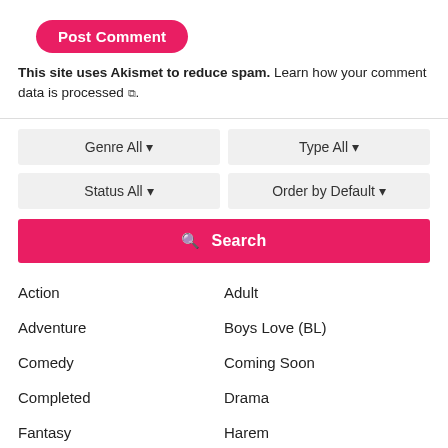Post Comment
This site uses Akismet to reduce spam. Learn how your comment data is processed.
Genre All ▾
Type All ▾
Status All ▾
Order by Default ▾
Search
Action
Adult
Adventure
Boys Love (BL)
Comedy
Coming Soon
Completed
Drama
Fantasy
Harem
Historical
Horror
Interstellar
English